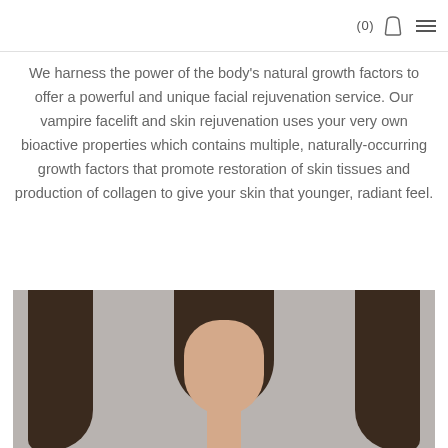(0) [bag icon] [menu icon]
We harness the power of the body's natural growth factors to offer a powerful and unique facial rejuvenation service. Our vampire facelift and skin rejuvenation uses your very own bioactive properties which contains multiple, naturally-occurring growth factors that promote restoration of skin tissues and production of collagen to give your skin that younger, radiant feel.
[Figure (photo): Top portion of a woman's head with long straight dark brown hair, photographed against a light gray background, viewed from slightly above showing the top and upper face.]